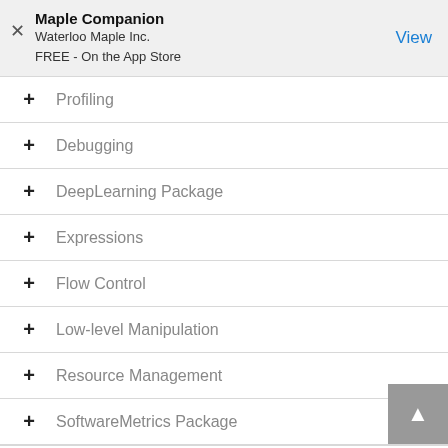Maple Companion
Waterloo Maple Inc.
FREE - On the App Store
View
Profiling
Debugging
DeepLearning Package
Expressions
Flow Control
Low-level Manipulation
Resource Management
SoftwareMetrics Package
Random Objects